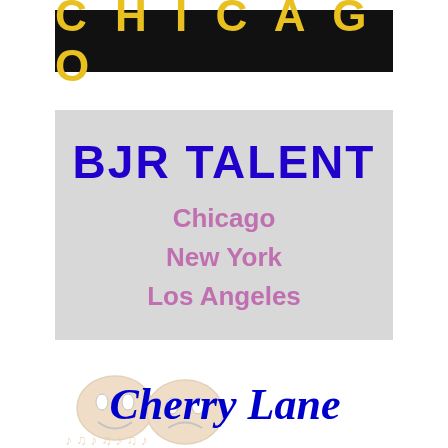[Figure (logo): CHICAGO title in yellow bold letters on black banner background]
[Figure (logo): BJR Talent logo with blue bold text on gray background, showing cities Chicago, New York, Los Angeles in pink/mauve]
[Figure (illustration): Cherry Lane logo with blue italic text and comedy/tragedy masks illustration in background]